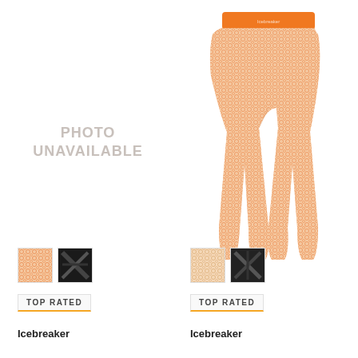[Figure (photo): Photo unavailable placeholder — left product slot showing PHOTO UNAVAILABLE text in light gray]
[Figure (photo): Product photo: orange patterned leggings/base layer pants with orange waistband, Icebreaker brand]
[Figure (photo): Color swatch for left product: orange/peach patterned fabric swatch]
[Figure (photo): Color swatch for left product: dark/black patterned fabric swatch]
[Figure (photo): Color swatch for right product: light/peach patterned fabric swatch]
[Figure (photo): Color swatch for right product: dark/black patterned fabric swatch]
TOP RATED
TOP RATED
Icebreaker
Icebreaker